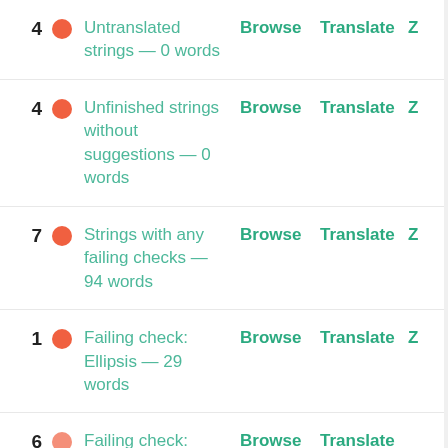4  Untranslated strings — 0 words  Browse  Translate  Z
4  Unfinished strings without suggestions — 0 words  Browse  Translate  Z
7  Strings with any failing checks — 94 words  Browse  Translate  Z
1  Failing check: Ellipsis — 29 words  Browse  Translate  Z
6  Failing check:  Browse  Translate  Z